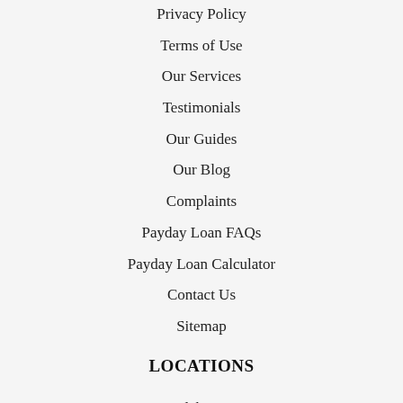Privacy Policy
Terms of Use
Our Services
Testimonials
Our Guides
Our Blog
Complaints
Payday Loan FAQs
Payday Loan Calculator
Contact Us
Sitemap
LOCATIONS
Alabama
Ohio